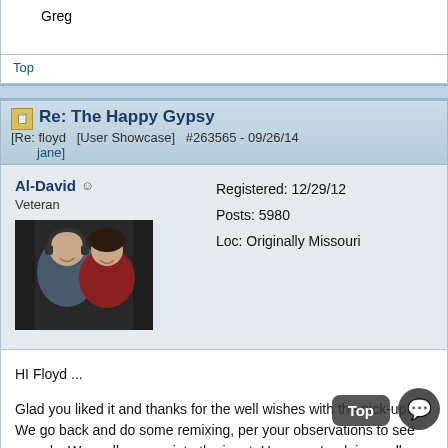Greg
Top
Re: The Happy Gypsy [Re: floyd  [User Showcase]  #263565 - 09/26/14 jane]
Al-David
Veteran
Registered: 12/29/12
Posts: 5980
Loc: Originally Missouri
[Figure (photo): Avatar photo of two people, a man and a woman, posing together against a dark background.]
HI Floyd ...

Glad you liked it and thanks for the well wishes with the pick-up. We go back and do some remixing, per your observations to see sounds. We really appreciate the input. Hope you're doing well... w